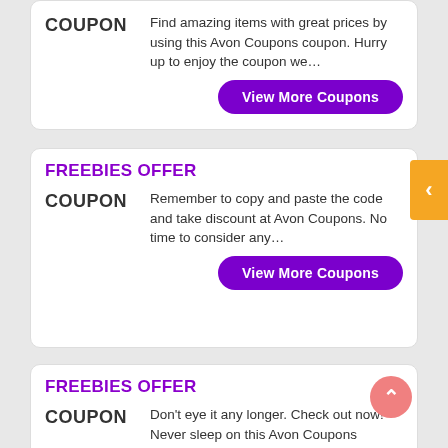COUPON
Find amazing items with great prices by using this Avon Coupons coupon. Hurry up to enjoy the coupon we…
View More Coupons
FREEBIES OFFER
COUPON
Remember to copy and paste the code and take discount at Avon Coupons. No time to consider any…
View More Coupons
FREEBIES OFFER
COUPON
Don't eye it any longer. Check out now! Never sleep on this Avon Coupons coupon to save as much a…
View More Coupons